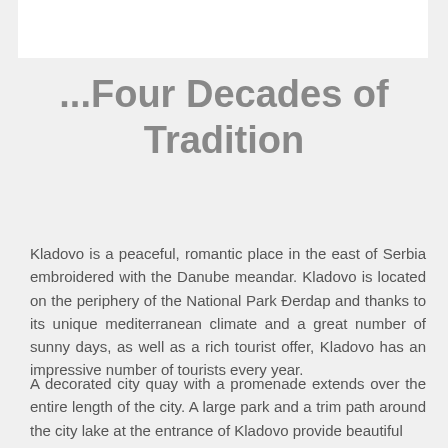[Figure (other): White rectangle at the top of the page, representing a header image placeholder]
...Four Decades of Tradition
Kladovo is a peaceful, romantic place in the east of Serbia embroidered with the Danube meandar. Kladovo is located on the periphery of the National Park Đerdap and thanks to its unique mediterranean climate and a great number of sunny days, as well as a rich tourist offer, Kladovo has an impressive number of tourists every year.
A decorated city quay with a promenade extends over the entire length of the city. A large park and a trim path around the city lake at the entrance of Kladovo provide beautiful